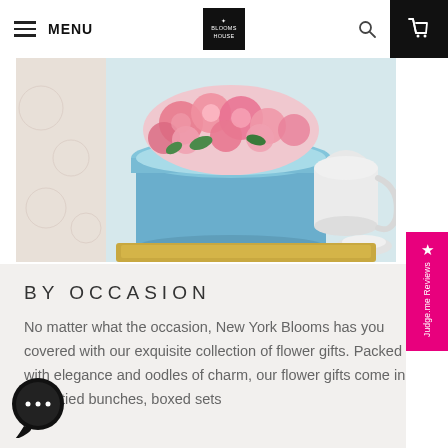MENU | Blooms logo | search | cart
[Figure (photo): A light blue hat box filled with pink roses arranged decoratively, placed on a gold tray alongside white decorative objects on a light background.]
BY OCCASION
No matter what the occasion, New York Blooms has you covered with our exquisite collection of flower gifts. Packed with elegance and oodles of charm, our flower gifts come in hand-tied bunches, boxed sets